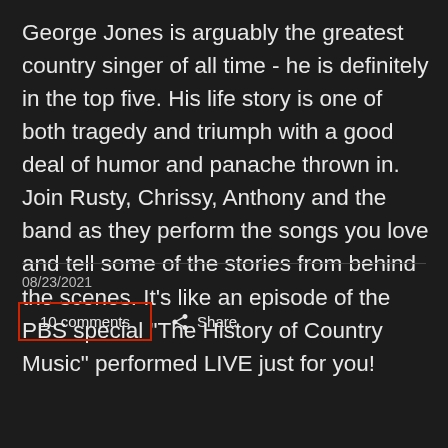George Jones is arguably the greatest country singer of all time - he is definitely in the top five. His life story is one of both tragedy and triumph with a good deal of humor and panache thrown in. Join Rusty, Chrissy, Anthony and the band as they perform the songs you love and tell some of the stories from behind the scenes. It's like an episode of the PBS special "The History of Country Music" performed LIVE just for you!
08/23/2021
10 comments
Share